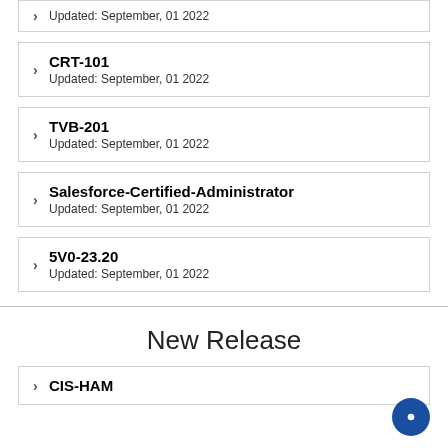Updated: September, 01 2022
CRT-101
Updated: September, 01 2022
TVB-201
Updated: September, 01 2022
Salesforce-Certified-Administrator
Updated: September, 01 2022
5V0-23.20
Updated: September, 01 2022
New Release
CIS-HAM